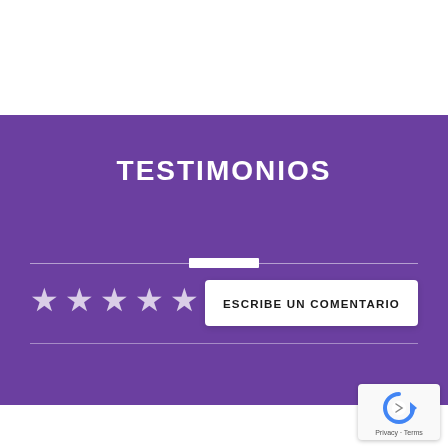TESTIMONIOS
[Figure (other): Five white star icons representing a 5-star rating]
ESCRIBE UN COMENTARIO
[Figure (logo): Google reCAPTCHA badge with circular arrow logo and Privacy - Terms links]